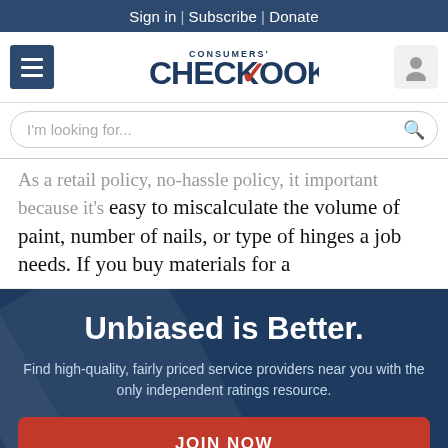Sign in | Subscribe | Donate
[Figure (logo): Consumers' Checkbook logo with red checkmark]
I'm looking for...
...easy to miscalculate the volume of paint, number of nails, or type of hinges a job needs. If you buy materials for a
Unbiased is Better.
Find high-quality, fairly priced service providers near you with the only independent ratings resource.
JOIN NOW
NO THANKS, MAYBE LATER.